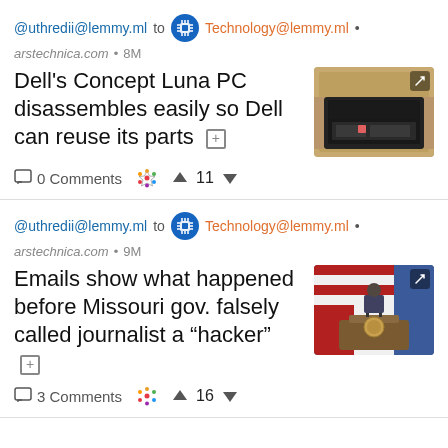@uthredii@lemmy.ml to Technology@lemmy.ml •
arstechnica.com • 8M
Dell's Concept Luna PC disassembles easily so Dell can reuse its parts
[Figure (photo): Thumbnail photo of Dell Concept Luna laptop disassembled showing components]
0 Comments  11
@uthredii@lemmy.ml to Technology@lemmy.ml •
arstechnica.com • 9M
Emails show what happened before Missouri gov. falsely called journalist a “hacker”
[Figure (photo): Thumbnail photo of a press conference podium with US flags]
3 Comments  16